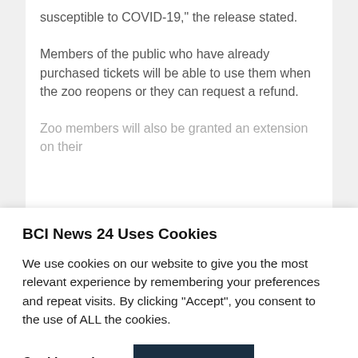susceptible to COVID-19," the release stated.
Members of the public who have already purchased tickets will be able to use them when the zoo reopens or they can request a refund.
Zoo members will also be granted an extension on their
BCI News 24 Uses Cookies
We use cookies on our website to give you the most relevant experience by remembering your preferences and repeat visits. By clicking “Accept”, you consent to the use of ALL the cookies.
Cookie settings  ACCEPT
caused by sickness or self-isolation requirements.
[Figure (infographic): Social share buttons: Facebook (dark blue), Twitter (light blue), Email (green)]